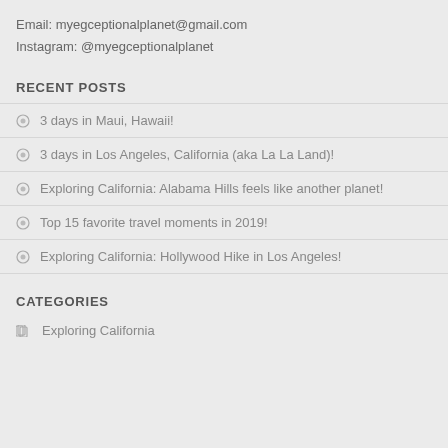Email: myegceptionalplanet@gmail.com
Instagram: @myegceptionalplanet
RECENT POSTS
3 days in Maui, Hawaii!
3 days in Los Angeles, California (aka La La Land)!
Exploring California: Alabama Hills feels like another planet!
Top 15 favorite travel moments in 2019!
Exploring California: Hollywood Hike in Los Angeles!
CATEGORIES
Exploring California